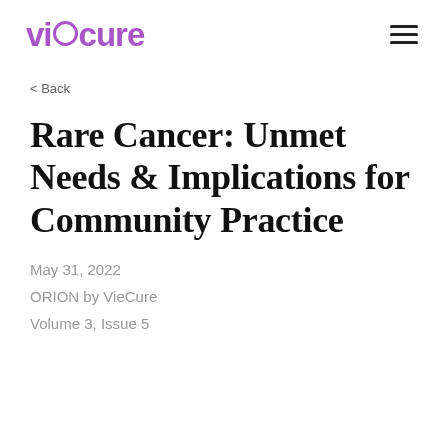VieCure
< Back
Rare Cancer: Unmet Needs & Implications for Community Practice
May 31, 2022
ORION by VieCure
Volume 3, Issue 5